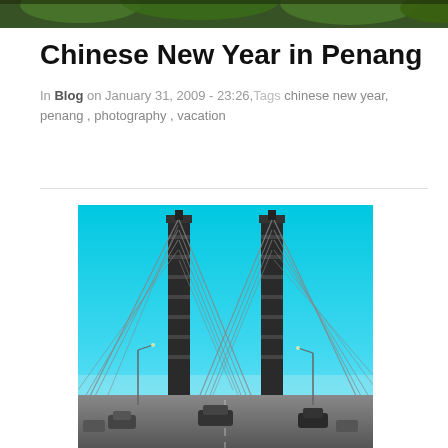[Figure (photo): Partial top image showing green foliage/plants against a dark background, cropped at top of page]
Chinese New Year in Penang
In Blog on January 31, 2009 - 23:26, Tags chinese new year, penang, photography, vacation
[Figure (photo): Photograph of two tall cable-stayed bridge towers of the Penang Bridge viewed from below/road level, with cables radiating outward, cars on the road, blue sky background]